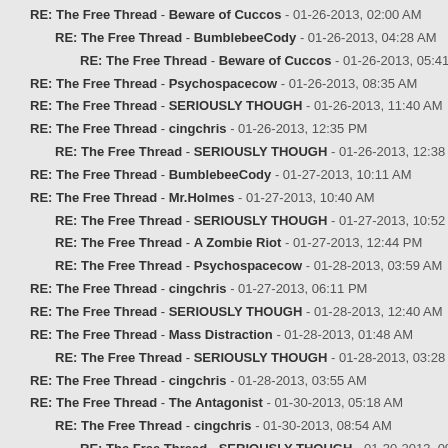RE: The Free Thread - Beware of Cuccos - 01-26-2013, 02:00 AM
RE: The Free Thread - BumblebeeCody - 01-26-2013, 04:28 AM
RE: The Free Thread - Beware of Cuccos - 01-26-2013, 05:41 AM
RE: The Free Thread - Psychospacecow - 01-26-2013, 08:35 AM
RE: The Free Thread - SERIOUSLY THOUGH - 01-26-2013, 11:40 AM
RE: The Free Thread - cingchris - 01-26-2013, 12:35 PM
RE: The Free Thread - SERIOUSLY THOUGH - 01-26-2013, 12:38 PM
RE: The Free Thread - BumblebeeCody - 01-27-2013, 10:11 AM
RE: The Free Thread - Mr.Holmes - 01-27-2013, 10:40 AM
RE: The Free Thread - SERIOUSLY THOUGH - 01-27-2013, 10:52 AM
RE: The Free Thread - A Zombie Riot - 01-27-2013, 12:44 PM
RE: The Free Thread - Psychospacecow - 01-28-2013, 03:59 AM
RE: The Free Thread - cingchris - 01-27-2013, 06:11 PM
RE: The Free Thread - SERIOUSLY THOUGH - 01-28-2013, 12:40 AM
RE: The Free Thread - Mass Distraction - 01-28-2013, 01:48 AM
RE: The Free Thread - SERIOUSLY THOUGH - 01-28-2013, 03:28 AM
RE: The Free Thread - cingchris - 01-28-2013, 03:55 AM
RE: The Free Thread - The Antagonist - 01-30-2013, 05:18 AM
RE: The Free Thread - cingchris - 01-30-2013, 08:54 AM
RE: The Free Thread - SERIOUSLY THOUGH - 01-30-2013, 09:13 AM
RE: The Free Thread - cingchris - 01-30-2013, 09:18 AM
RE: The Free Thread - The Antagonist - 01-30-2013, 08:27 PM
RE: The Free Thread - A Zombie Riot - 01-30-2013, 07:37 AM
RE: The Free Thread - SERIOUSLY THOUGH - 01-30-2013, 07:52 AM
RE: The Free Thread - Lightmatt - 01-30-2013, 08:10 AM